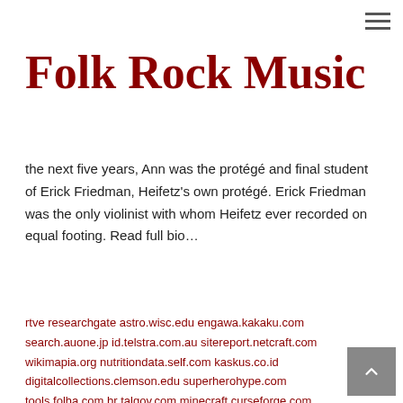≡
Folk Rock Music
the next five years, Ann was the protégé and final student of Erick Friedman, Heifetz's own protégé. Erick Friedman was the only violinist with whom Heifetz ever recorded on equal footing. Read full bio…
rtve researchgate astro.wisc.edu engawa.kakaku.com search.auone.jp id.telstra.com.au sitereport.netcraft.com wikimapia.org nutritiondata.self.com kaskus.co.id digitalcollections.clemson.edu superherohype.com tools.folha.com.br talgov.com minecraft.curseforge.com curseforge.com foro.infojardin.com camfrog.com popcouncil.org drinksmixer.com Source: nysmf.org